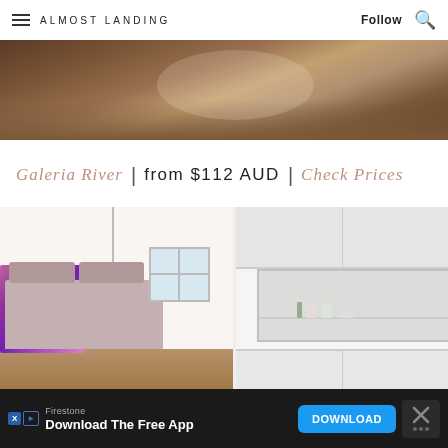ALMOST LANDING | Follow
[Figure (photo): Partial view of a bedroom with wooden floor, dark furniture]
Galeria River | from $112 AUD | Check Prices
[Figure (photo): Split view: left shows a minimalist bedroom with purple abstract art, mauve bed, pendant lamp, and window; right shows white built-in shelving unit with items]
[Figure (infographic): Advertisement banner: Firestone - Download The Free App - DOWNLOAD button]